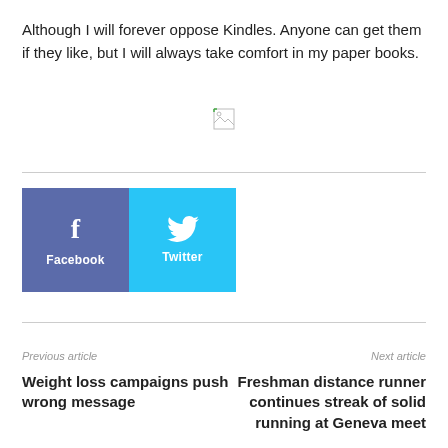Although I will forever oppose Kindles. Anyone can get them if they like, but I will always take comfort in my paper books.
[Figure (other): Broken/missing image placeholder icon]
[Figure (infographic): Social share buttons: Facebook (blue-purple) and Twitter (light blue) side by side with icons and labels]
Previous article
Weight loss campaigns push wrong message
Next article
Freshman distance runner continues streak of solid running at Geneva meet